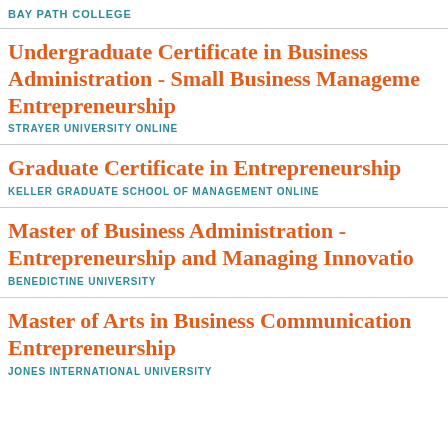BAY PATH COLLEGE
Undergraduate Certificate in Business Administration - Small Business Management Entrepreneurship
STRAYER UNIVERSITY ONLINE
Graduate Certificate in Entrepreneurship
KELLER GRADUATE SCHOOL OF MANAGEMENT ONLINE
Master of Business Administration - Entrepreneurship and Managing Innovation
BENEDICTINE UNIVERSITY
Master of Arts in Business Communication Entrepreneurship
JONES INTERNATIONAL UNIVERSITY